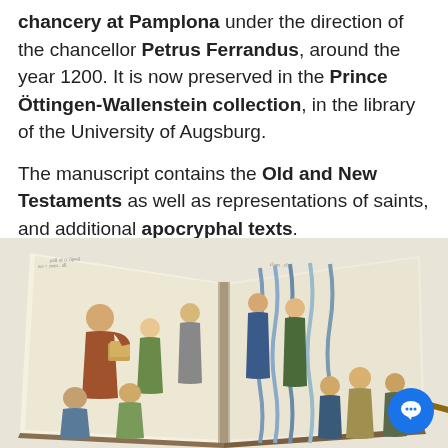chancery at Pamplona under the direction of the chancellor Petrus Ferrandus, around the year 1200. It is now preserved in the Prince Öttingen-Wallenstein collection, in the library of the University of Augsburg.

The manuscript contains the Old and New Testaments as well as representations of saints, and additional apocryphal texts.
[Figure (photo): An open medieval illuminated manuscript showing two pages with illustrations of robed figures (saints or monks), some carrying objects, rendered in a medieval style with muted earth tones, blue, and green colors on aged parchment pages.]